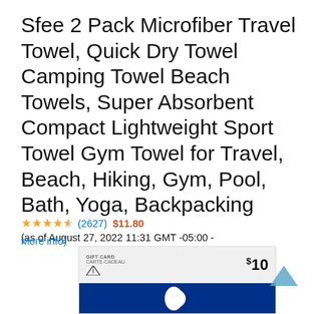Sfee 2 Pack Microfiber Travel Towel, Quick Dry Towel Camping Towel Beach Towels, Super Absorbent Compact Lightweight Sport Towel Gym Towel for Travel, Beach, Hiking, Gym, Pool, Bath, Yoga, Backpacking
4.5 stars (2627) $11.80 (as of August 27, 2022 11:31 GMT -05:00 - More info)
[Figure (screenshot): Advertisement banner showing a PlayStation gift card with $10 value and blue PlayStation logo bar at bottom]